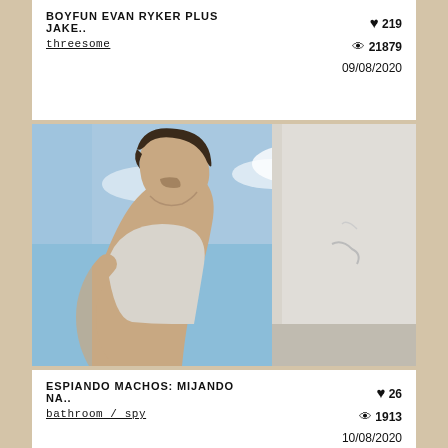BOYFUN EVAN RYKER PLUS JAKE..
threesome
♥ 219  👁 21879  09/08/2020
[Figure (photo): Young man in a white tank top photographed from below against a blue sky and a white wall/surface, looking downward]
ESPIANDO MACHOS: MIJANDO NA..
bathroom / spy
♥ 26  👁 1913  10/08/2020